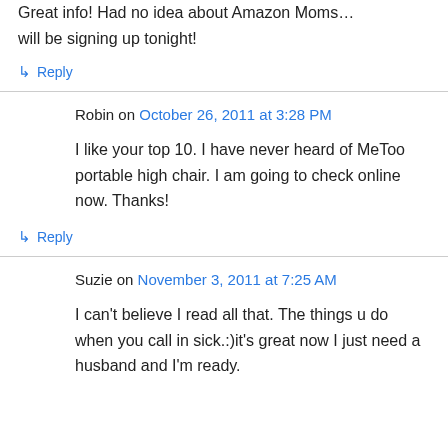Great info! Had no idea about Amazon Moms… will be signing up tonight!
↳ Reply
Robin on October 26, 2011 at 3:28 PM
I like your top 10. I have never heard of MeToo portable high chair. I am going to check online now. Thanks!
↳ Reply
Suzie on November 3, 2011 at 7:25 AM
I can't believe I read all that. The things u do when you call in sick.:)it's great now I just need a husband and I'm ready.